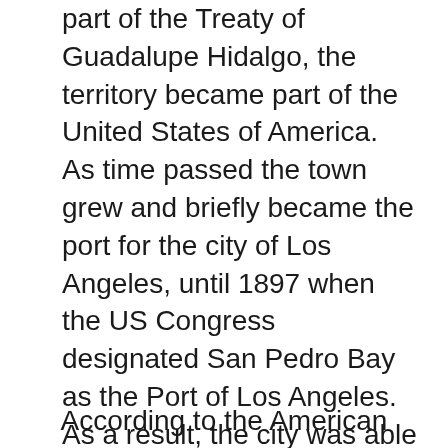part of the Treaty of Guadalupe Hidalgo, the territory became part of the United States of America. As time passed the town grew and briefly became the port for the city of Los Angeles, until 1897 when the US Congress designated San Pedro Bay as the Port of Los Angeles. As a result, the city was able to preserve its scenic charm and becomes a destination for the elite's leisure and a hot spot for Hollywood's celebrities. Since the colonizing period Santa Monica has preserved its charm and housed an affluent community that benefits from the city's vicinity to the ocean and distance from chaotic Down Town Los Angeles.
According to the American